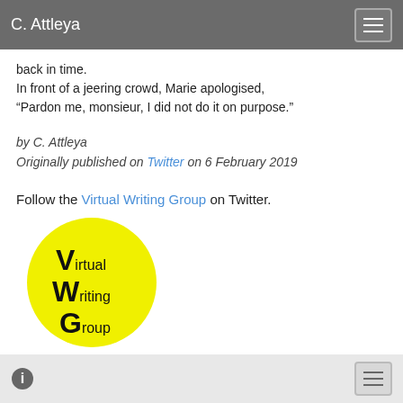C. Attleya
back in time.
In front of a jeering crowd, Marie apologised,
“Pardon me, monsieur, I did not do it on purpose.”
by C. Attleya
Originally published on Twitter on 6 February 2019
Follow the Virtual Writing Group on Twitter.
[Figure (logo): Yellow circle logo with stylized V W G letters for Virtual Writing Group]